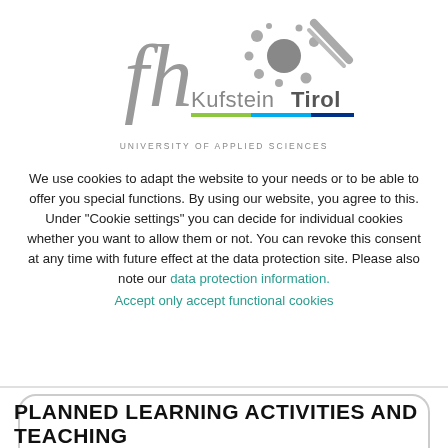[Figure (logo): FH Kufstein Tirol University of Applied Sciences logo with stylized 'fh' letters, colorful dots motif, and colored stripe bar]
We use cookies to adapt the website to your needs or to be able to offer you special functions. By using our website, you agree to this. Under "Cookie settings" you can decide for individual cookies whether you want to allow them or not. You can revoke this consent at any time with future effect at the data protection site. Please also note our data protection information.
Accept only accept functional cookies
PLANNED LEARNING ACTIVITIES AND TEACHING